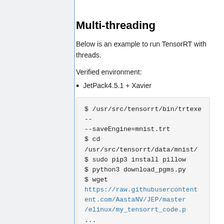Multi-threading
Below is an example to run TensorRT with threads.
Verified environment:
JetPack4.5.1 + Xavier
$ /usr/src/tensorrt/bin/trtexec --onnx=/usr/src/tensorrt/data/mn... --saveEngine=mnist.trt $ cd /usr/src/tensorrt/data/mnist/ $ sudo pip3 install pillow $ python3 download_pgms.py $ wget https://raw.githubusercontent.com/AastaNV/JEP/master/elinux/my_tensorrt_code.p...